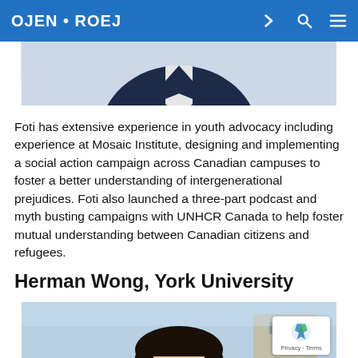OJEN • ROEJ
[Figure (photo): Partial photo of a person wearing a dark suit jacket and white shirt, cropped to show torso only]
Foti has extensive experience in youth advocacy including experience at Mosaic Institute, designing and implementing a social action campaign across Canadian campuses to foster a better understanding of intergenerational prejudices. Foti also launched a three-part podcast and myth busting campaigns with UNHCR Canada to help foster mutual understanding between Canadian citizens and refugees.
Herman Wong, York University
[Figure (photo): Portrait photo of Herman Wong, a young man with dark hair, photographed outdoors with a blurred background]